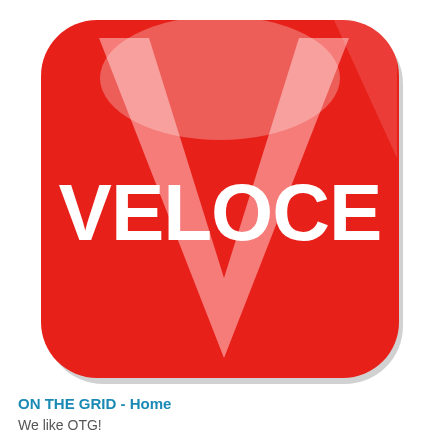[Figure (logo): Veloce app icon: red rounded square with a large light pink V shape and white bold text 'VELOCE' in the center, with a glossy highlight at the top]
ON THE GRID - Home
We like OTG!